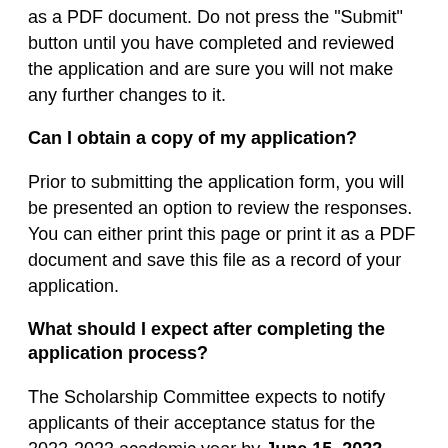as a PDF document. Do not press the "Submit" button until you have completed and reviewed the application and are sure you will not make any further changes to it.
Can I obtain a copy of my application?
Prior to submitting the application form, you will be presented an option to review the responses. You can either print this page or print it as a PDF document and save this file as a record of your application.
What should I expect after completing the application process?
The Scholarship Committee expects to notify applicants of their acceptance status for the 2022-2023 academic year by June 15, 2022.
References and Letters of